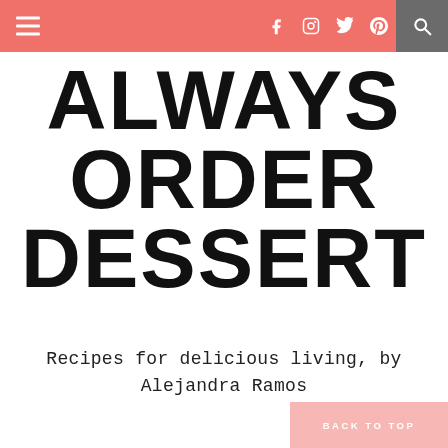Navigation bar with hamburger menu, social icons (f, instagram, twitter, pinterest), and search icon
ALWAYS ORDER DESSERT
Recipes for delicious living, by Alejandra Ramos
BACK TO TOP